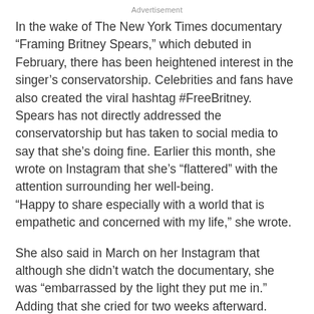Advertisement
In the wake of The New York Times documentary “Framing Britney Spears,” which debuted in February, there has been heightened interest in the singer’s conservatorship. Celebrities and fans have also created the viral hashtag #FreeBritney.
Spears has not directly addressed the conservatorship but has taken to social media to say that she’s doing fine. Earlier this month, she wrote on Instagram that she’s “flattered” with the attention surrounding her well-being.
“Happy to share especially with a world that is empathetic and concerned with my life,” she wrote.
She also said in March on her Instagram that although she didn’t watch the documentary, she was “embarrassed by the light they put me in.” Adding that she cried for two weeks afterward.
Jamie Spears told CNN in December he has not spoken to